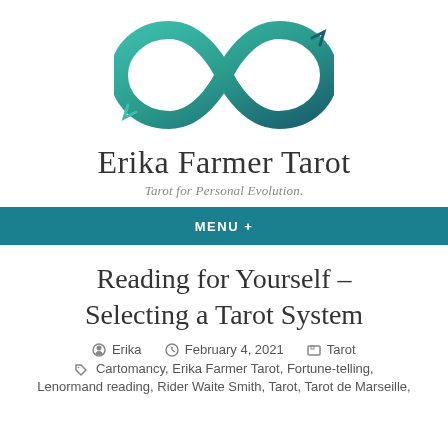[Figure (logo): Infinity symbol logo with teal-to-dark teal gradient brush stroke style]
Erika Farmer Tarot
Tarot for Personal Evolution.
MENU +
Reading for Yourself – Selecting a Tarot System
Erika   February 4, 2021   Tarot
Cartomancy, Erika Farmer Tarot, Fortune-telling,
Lenormand reading, Rider Waite Smith, Tarot, Tarot de Marseille,